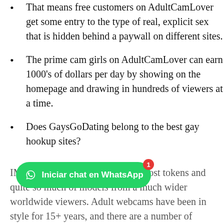That means free customers on AdultCamLover get some entry to the type of real, explicit sex that is hidden behind a paywall on different sites.
The prime cam girls on AdultCamLover can earn 1000's of dollars per day by showing on the homepage and drawing in hundreds of viewers at a time.
Does GaysGoDating belong to the best gay hookup sites?
IMLive — Known for super low-cost tokens and quite so much of models from a much wider worldwide viewers. Adult webcams have been in style for 15+ years, and there are a number of ...possibly want to ...ltCamLover isn't the one site serving up live sex and specific webcams. In fact, you'll find a way to watch the